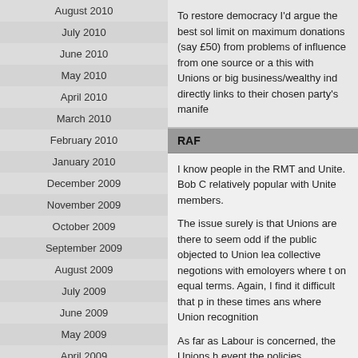August 2010
July 2010
June 2010
May 2010
April 2010
March 2010
February 2010
January 2010
December 2009
November 2009
October 2009
September 2009
August 2009
July 2009
June 2009
May 2009
April 2009
March 2009
February 2009
January 2009
December 2008
To restore democracy I'd argue the best sol limit on maximum donations (say £50) from problems of influence from one source or a this with Unions or big business/wealthy ind directly links to their chosen party's manife
RAF
I know people in the RMT and Unite. Bob C relatively popular with Unite members.
The issue surely is that Unions are there to seem odd if the public objected to Union lea collective negotions with emoloyers where t on equal terms. Again, I find it difficult that p in these times ans where Union recognition
As far as Labour is concerned, the Unions h event the policies advocated by the Unions many people – especially Lavour people. Ho wage and the Social Chapter? How many La wages/powers of public sector bosses? So t an anachronism.